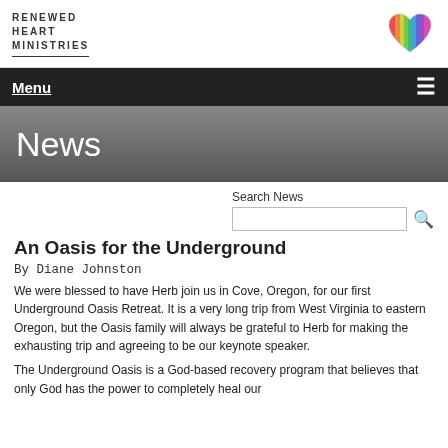RENEWED HEART MINISTRIES
Menu
News
Search News
An Oasis for the Underground
By Diane Johnston
We were blessed to have Herb join us in Cove, Oregon, for our first Underground Oasis Retreat. It is a very long trip from West Virginia to eastern Oregon, but the Oasis family will always be grateful to Herb for making the exhausting trip and agreeing to be our keynote speaker.
The Underground Oasis is a God-based recovery program that believes that only God has the power to completely heal our